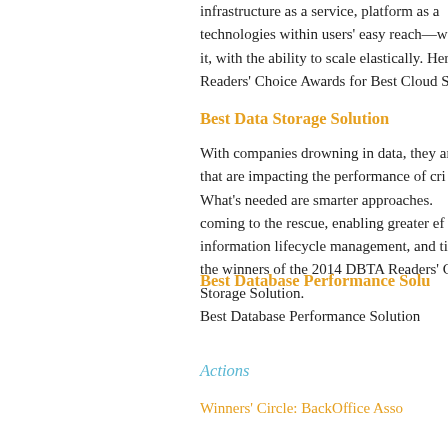infrastructure as a service, platform as a technologies within users' easy reach—w it, with the ability to scale elastically. Her Readers' Choice Awards for Best Cloud S
Best Data Storage Solution
With companies drowning in data, they ar that are impacting the performance of cri What's needed are smarter approaches. coming to the rescue, enabling greater ef information lifecycle management, and tie the winners of the 2014 DBTA Readers' C Storage Solution.
Best Database Performance Solu
Best Database Performance Solution
Actions
Winners' Circle: BackOffice Asso